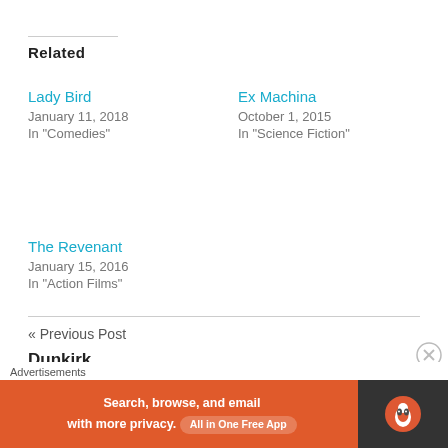Related
Lady Bird
January 11, 2018
In "Comedies"
Ex Machina
October 1, 2015
In "Science Fiction"
The Revenant
January 15, 2016
In "Action Films"
« Previous Post
Dunkirk
Next Post
Advertisements
[Figure (infographic): DuckDuckGo advertisement banner: Search, browse, and email with more privacy. All in One Free App.]